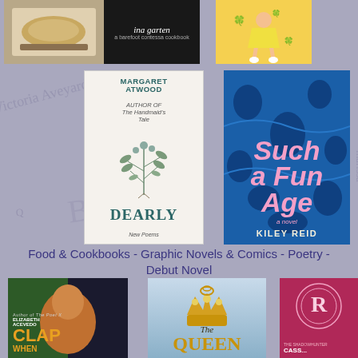[Figure (illustration): Collage of book covers including Margaret Atwood's 'Dearly: New Poems', 'Such a Fun Age' by Kiley Reid, Ina Garten cookbook, illustrated books, 'Clap When You Land' by Elizabeth Acevedo, 'The Queen' book with crown illustration, and Cassandra Clare book, set against a background of overlapping book covers with handwritten-style text.]
Food & Cookbooks - Graphic Novels & Comics - Poetry - Debut Novel